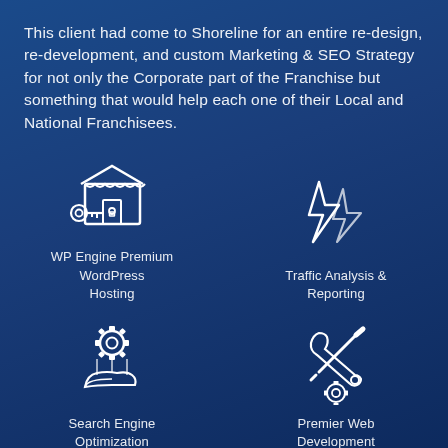This client had come to Shoreline for an entire re-design, re-development, and custom Marketing & SEO Strategy for not only the Corporate part of the Franchise but something that would help each one of their Local and National Franchisees.
[Figure (illustration): White outline icon of a storefront/shop with a key, representing WP Engine Premium WordPress Hosting]
WP Engine Premium WordPress Hosting
[Figure (illustration): White outline lightning bolt icon representing Traffic Analysis & Reporting]
Traffic Analysis & Reporting
[Figure (illustration): White outline icon of a gear being held in a hand, representing Search Engine Optimization]
Search Engine Optimization
[Figure (illustration): White outline icon of wrench and screwdriver tools with a gear, representing Premier Web Development]
Premier Web Development